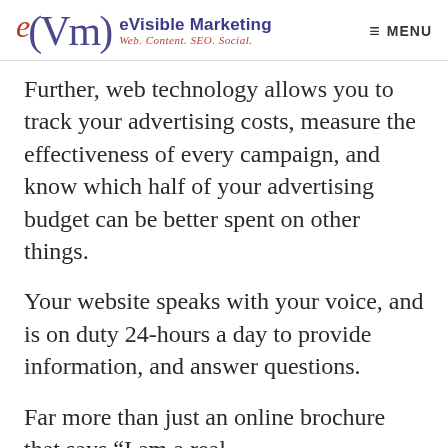eVisible Marketing — Web. Content. SEO. Social. — MENU
Further, web technology allows you to track your advertising costs, measure the effectiveness of every campaign, and know which half of your advertising budget can be better spent on other things.
Your website speaks with your voice, and is on duty 24-hours a day to provide information, and answer questions.
Far more than just an online brochure that says “I am a real